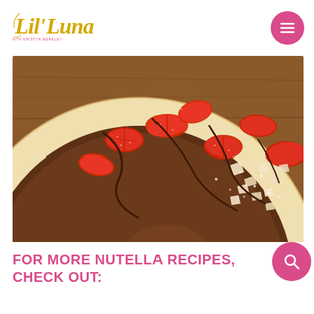Lil' Luna · with Kristyn Merkley
[Figure (photo): Close-up photo of a flatbread/pizza topped with Nutella chocolate spread, sliced strawberries, chopped almonds, and a drizzle of chocolate sauce, placed on a wooden surface]
FOR MORE NUTELLA RECIPES, CHECK OUT: